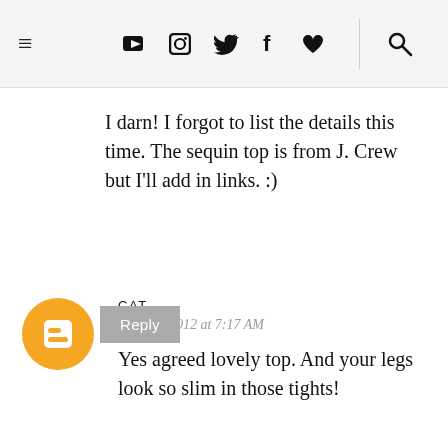≡ ▶ 📷 🐦 f ♥ 🔍
I darn! I forgot to list the details this time. The sequin top is from J. Crew but I'll add in links. :)
CAT
June 14, 2012 at 7:17 AM
Yes agreed lovely top. And your legs look so slim in those tights!
Reply
KILIANI